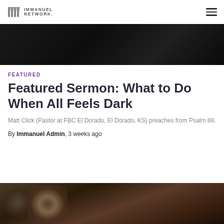IMMANUEL NETWORK.
[Figure (photo): Dark textured background image strip at top of page]
FEATURED
Featured Sermon: What to Do When All Feels Dark
Matt Click (Pastor at FBC El Dorado, El Dorado, KS) preaches from Psalm 88.
By Immanuel Admin, 3 weeks ago
[Figure (photo): Close-up photo of hands, partially visible at bottom of page]